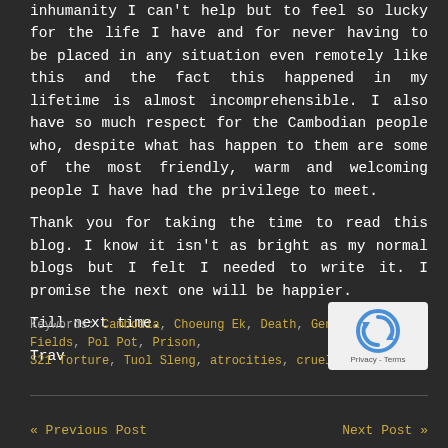inhumanity I can't help but to feel so lucky for the life I have and for never having to be placed in any situation even remotely like this and the fact this happened in my lifetime is almost incomprehensible. I also have so much respect for the Cambodian people who, despite what has happen to them are some of the most friendly, warm and welcoming people I have had the privilege to meet.
Thank you for taking the time to read this blog. I know it isn't as bright as my normal blogs but I felt I needed to write it. I promise the next one will be happier.
Till next time.
Trav
Keywords: Cambodia, Choeung Ek, Death, Genocide, King Fields, Pol Pot, Prison, S21 Torture, Tuol Sleng, atrocities, cruel khmer rouge
[Figure (logo): reCAPTCHA logo box with Privacy - Terms text]
« Previous Post    Next Post »